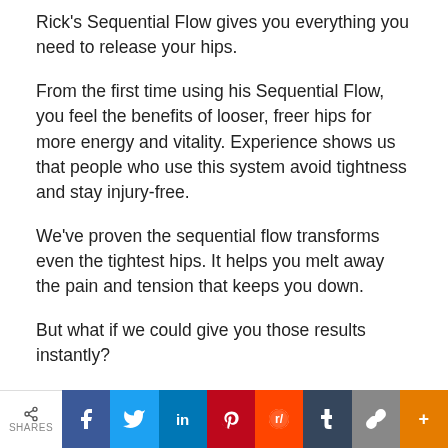Rick's Sequential Flow gives you everything you need to release your hips.
From the first time using his Sequential Flow, you feel the benefits of looser, freer hips for more energy and vitality. Experience shows us that people who use this system avoid tightness and stay injury-free.
We've proven the sequential flow transforms even the tightest hips. It helps you melt away the pain and tension that keeps you down.
But what if we could give you those results instantly?
You see, the only way to release your hips in the right way quicker is with the help of a physical therapist. The problem is you don't have access to a therapist when and where you need